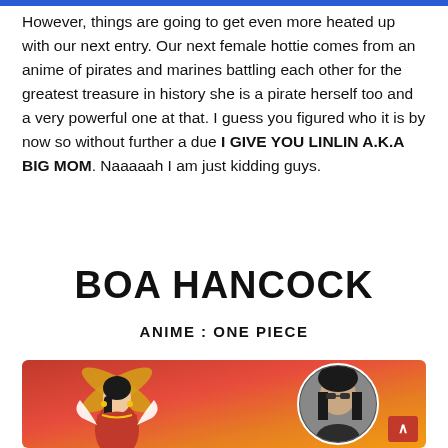However, things are going to get even more heated up with our next entry. Our next female hottie comes from an anime of pirates and marines battling each other for the greatest treasure in history she is a pirate herself too and a very powerful one at that. I guess you figured who it is by now so without further a due I GIVE YOU LINLIN A.K.A BIG MOM. Naaaaah I am just kidding guys.
BOA HANCOCK
ANIME : ONE PIECE
[Figure (illustration): An illustration of Boa Hancock from One Piece (anime character in red outfit) on the left, and a circular photo of a woman wearing sunglasses on the right, set against a red/orange gradient background.]